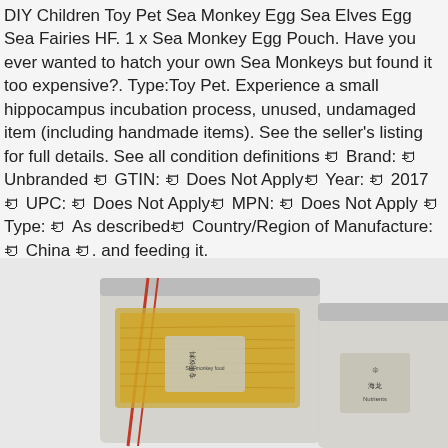DIY Children Toy Pet Sea Monkey Egg Sea Elves Egg Sea Fairies HF. 1 x Sea Monkey Egg Pouch. Have you ever wanted to hatch your own Sea Monkeys but found it too expensive?. Type:Toy Pet. Experience a small hippocampus incubation process, unused, undamaged item (including handmade items). See the seller's listing for full details. See all condition definitions ꀂ Brand: ꀂ Unbranded ꀂ GTIN: ꀂ Does Not Applyꀂ Year: ꀂ 2017 ꀂ UPC: ꀂ Does Not Applyꀂ MPN: ꀂ Does Not Apply ꀂ Type: ꀂ As describedꀂ Country/Region of Manufacture: ꀂ China ꀂ. and feeding it.
[Figure (photo): Two small zip-lock pouches containing yellowish material, with Chinese text labels and one label reading 'Nutrients', placed on a light grey background.]